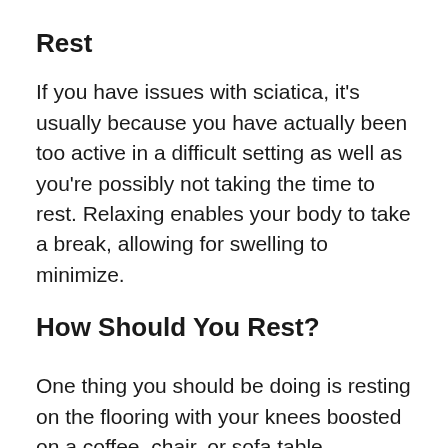Rest
If you have issues with sciatica, it’s usually because you have actually been too active in a difficult setting as well as you’re possibly not taking the time to rest. Relaxing enables your body to take a break, allowing for swelling to minimize.
How Should You Rest?
One thing you should be doing is resting on the flooring with your knees boosted on a coffee, chair, or sofa table.
Pushing the floor with your knees up reduces tension in your reduced back and legs which